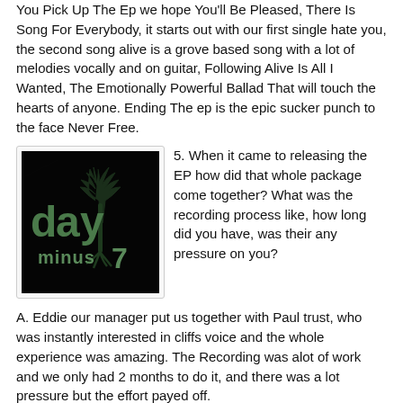You Pick Up The Ep we hope You'll Be Pleased, There Is Song For Everybody, it starts out with our first single hate you, the second song alive is a grove based song with a lot of melodies vocally and on guitar, Following Alive Is All I Wanted, The Emotionally Powerful Ballad That will touch the hearts of anyone. Ending The ep is the epic sucker punch to the face Never Free.
[Figure (photo): Album art for 'day minus 7' — dark background with stylized text logo showing 'day minus7' with a tree silhouette]
5. When it came to releasing the EP how did that whole package come together? What was the recording process like, how long did you have, was their any pressure on you?
A. Eddie our manager put us together with Paul trust, who was instantly interested in cliffs voice and the whole experience was amazing. The Recording was alot of work and we only had 2 months to do it, and there was a lot pressure but the effort payed off.